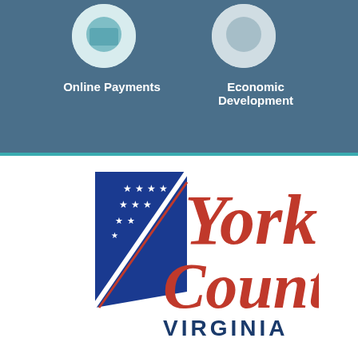[Figure (infographic): Blue banner with two circular icons partially visible: Online Payments icon on the left and Economic Development icon on the right]
Online Payments
Economic Development
[Figure (logo): York County Virginia logo: blue shield with stars and diagonal stripe, with red italic text 'York County' and blue bold uppercase 'VIRGINIA']